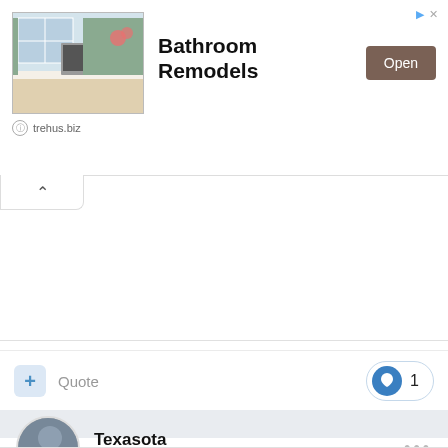[Figure (screenshot): Advertisement banner for Bathroom Remodels featuring a kitchen/bathroom photo on the left, bold title 'Bathroom Remodels' in center, an 'Open' button on the right, and 'trehus.biz' URL below. Navigation arrows in top-right corner.]
Quote
1
[Figure (photo): User avatar for Texasota showing a cityscape photo]
Texasota
Posted November 10, 2021
Philadelphia is in much better shape than St. Louis and Detroit, and has been gaining back population for the last decade or so. I don't think it's fair to say that it looks like somebody "nuked" it. It's no Baltimore.